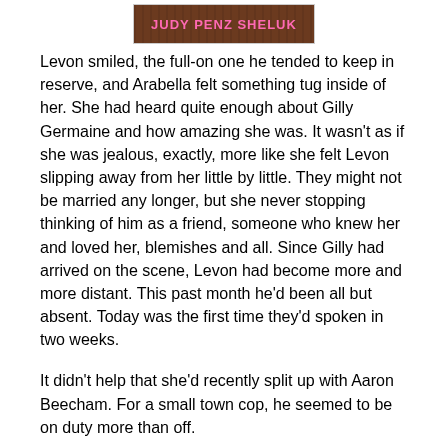[Figure (illustration): Book cover image showing author name JUDY PENZ SHELUK in pink text on a wooden background]
Levon smiled, the full-on one he tended to keep in reserve, and Arabella felt something tug inside of her. She had heard quite enough about Gilly Germaine and how amazing she was. It wasn't as if she was jealous, exactly, more like she felt Levon slipping away from her little by little. They might not be married any longer, but she never stopping thinking of him as a friend, someone who knew her and loved her, blemishes and all. Since Gilly had arrived on the scene, Levon had become more and more distant. This past month he'd been all but absent. Today was the first time they'd spoken in two weeks.
It didn't help that she'd recently split up with Aaron Beecham. For a small town cop, he seemed to be on duty more than off.
“I should get going,” Levon said, interrupting her thoughts. “Gilly is relying on me.”